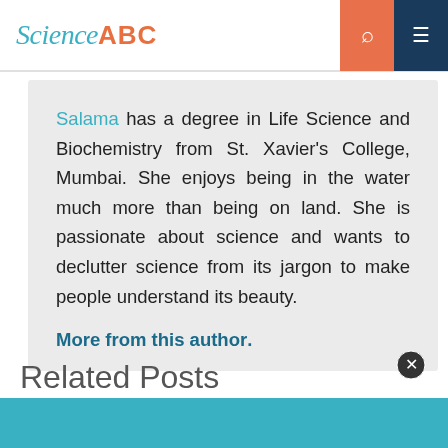Science ABC
Salama has a degree in Life Science and Biochemistry from St. Xavier's College, Mumbai. She enjoys being in the water much more than being on land. She is passionate about science and wants to declutter science from its jargon to make people understand its beauty.
More from this author.
Related Posts